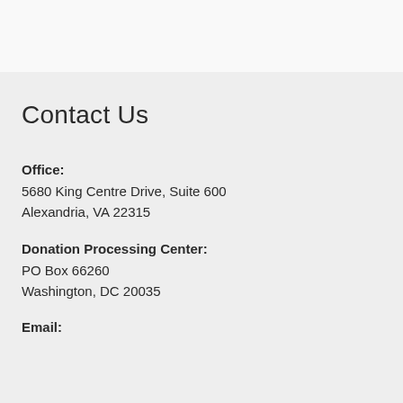Contact Us
Office:
5680 King Centre Drive, Suite 600
Alexandria, VA 22315
Donation Processing Center:
PO Box 66260
Washington, DC 20035
Email: